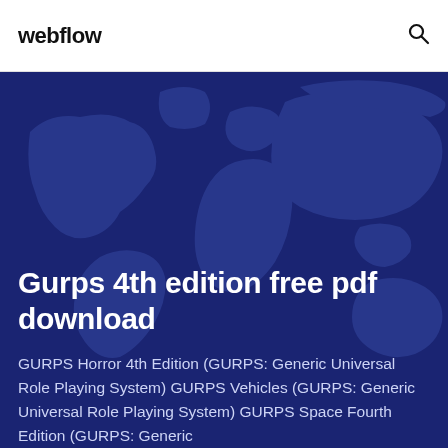webflow
[Figure (illustration): Dark blue world map illustration used as hero background]
Gurps 4th edition free pdf download
GURPS Horror 4th Edition (GURPS: Generic Universal Role Playing System) GURPS Vehicles (GURPS: Generic Universal Role Playing System) GURPS Space Fourth Edition (GURPS: Generic